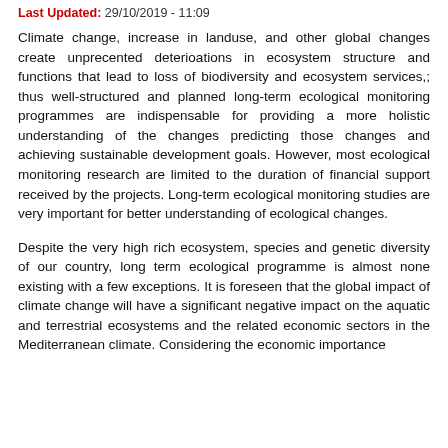Last Updated: 29/10/2019 - 11:09
Climate change, increase in landuse, and other global changes create unprecented deterioations in ecosystem structure and functions that lead to loss of biodiversity and ecosystem services,; thus well-structured and planned long-term ecological monitoring programmes are indispensable for providing a more holistic understanding of the changes predicting those changes and achieving sustainable development goals. However, most ecological monitoring research are limited to the duration of financial support received by the projects. Long-term ecological monitoring studies are very important for better understanding of ecological changes.
Despite the very high rich ecosystem, species and genetic diversity of our country, long term ecological programme is almost none existing with a few exceptions. It is foreseen that the global impact of climate change will have a significant negative impact on the aquatic and terrestrial ecosystems and the related economic sectors in the Mediterranean climate. Considering the economic importance